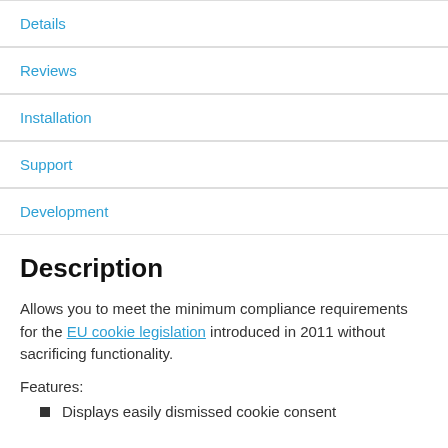Details
Reviews
Installation
Support
Development
Description
Allows you to meet the minimum compliance requirements for the EU cookie legislation introduced in 2011 without sacrificing functionality.
Features:
Displays easily dismissed cookie consent